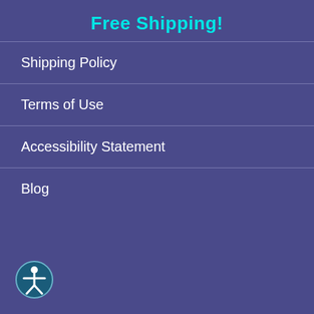Free Shipping!
Shipping Policy
Terms of Use
Accessibility Statement
Blog
[Figure (illustration): Accessibility icon: circular dark teal button with white stick figure person with arms outstretched, located in bottom-left corner]